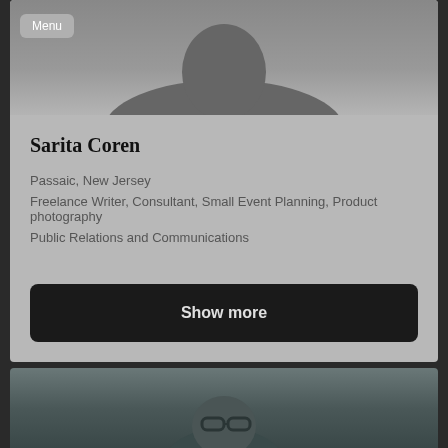[Figure (photo): Profile photo area showing top portion of a person's silhouette against a gray background]
Menu
Sarita Coren
Passaic, New Jersey
Freelance Writer, Consultant, Small Event Planning, Product photography
Public Relations and Communications
Show more
[Figure (photo): Bottom photo area showing top portion of a person's head with glasses against a muted blue-gray background]